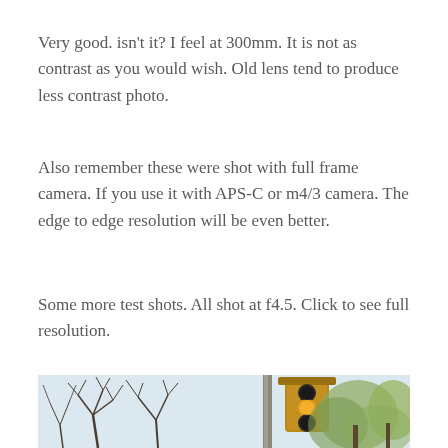Very good. isn't it? I feel at 300mm. It is not as contrast as you would wish. Old lens tend to produce less contrast photo.
Also remember these were shot with full frame camera. If you use it with APS-C or m4/3 camera. The edge to edge resolution will be even better.
Some more test shots. All shot at f4.5. Click to see full resolution.
[Figure (photo): Outdoor street scene photo showing bare winter trees against a light sky on the left, and a yellow traffic light on a metal pole on the right, with budding green trees in the background.]